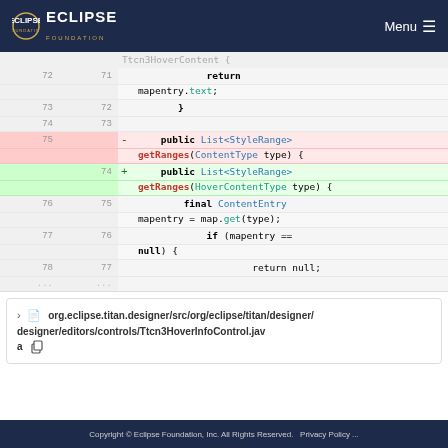Eclipse Foundation | Menu
[Figure (screenshot): Code diff view showing Java source code with line numbers, deleted lines highlighted in red (line 75: public List<StyleRange> getRanges(ContentType type) {), and added lines highlighted in green (line 74: public List<StyleRange> getRanges(HoverContentType type) {). Surrounding lines show return mapentry.text;, closing brace, and subsequent code for final ContentEntry mapentry = map.get(type); if (mapentry == null) { return null;]
org.eclipse.titan.designer/src/org/eclipse/titan/designer/editors/controls/Ttcn3HoverInfoControl.java
Copyright © Eclipse Foundation, Inc. All Rights Reserved.   Privacy Policy ...